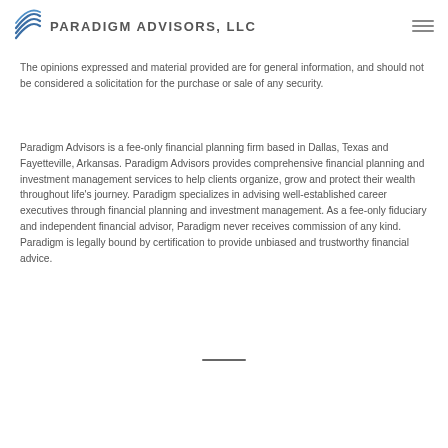Paradigm Advisors, LLC
The opinions expressed and material provided are for general information, and should not be considered a solicitation for the purchase or sale of any security.
Paradigm Advisors is a fee-only financial planning firm based in Dallas, Texas and Fayetteville, Arkansas. Paradigm Advisors provides comprehensive financial planning and investment management services to help clients organize, grow and protect their wealth throughout life's journey. Paradigm specializes in advising well-established career executives through financial planning and investment management. As a fee-only fiduciary and independent financial advisor, Paradigm never receives commission of any kind. Paradigm is legally bound by certification to provide unbiased and trustworthy financial advice.